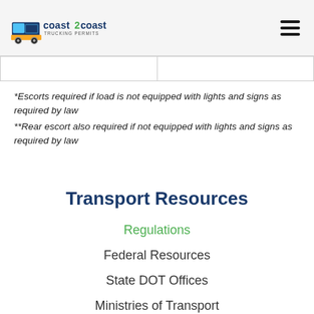Coast 2 Coast Trucking Permits
*Escorts required if load is not equipped with lights and signs as required by law
**Rear escort also required if not equipped with lights and signs as required by law
Transport Resources
Regulations
Federal Resources
State DOT Offices
Ministries of Transport